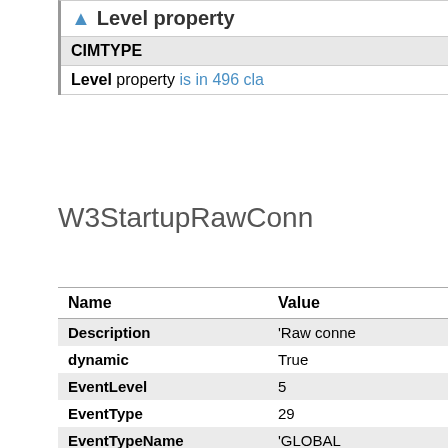| Level property |  |
| --- | --- |
| CIMTYPE |  |
| Level property is in 496 cla... |  |
W3StartupRawConn
| Name | Value |
| --- | --- |
| Description | 'Raw conne... |
| dynamic | True |
| EventLevel | 5 |
| EventType | 29 |
| EventTypeName | 'GLOBAL_... |
| LOCALE | 1033 |
W3StartupRawConn
[Figure (other): WUtils.com watermark overlay]
| Name | Value |
| --- | --- |